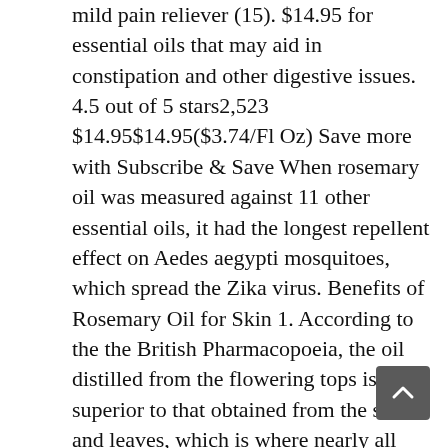mild pain reliever (15). $14.95 for essential oils that may aid in constipation and other digestive issues. 4.5 out of 5 stars2,523 $14.95$14.95($3.74/Fl Oz) Save more with Subscribe & Save When rosemary oil was measured against 11 other essential oils, it had the longest repellent effect on Aedes aegypti mosquitoes, which spread the Zika virus. Benefits of Rosemary Oil for Skin 1. According to the the British Pharmacopoeia, the oil distilled from the flowering tops is superior to that obtained from the stem and leaves, which is where nearly all commercial oil are said to be distilled. By its regeneration properties, rosemary essential oil rehydrates and tones skin helping remove wrinkles and making skin taut and healthy. Source: Appla Botanicals Aroma: Strong, herbaceous, fresh, woody, kind of minty scent. In folk medicine, rosemary is utilized as a mild pain reliever (15). The simplest way to inhale rosemary oil is to open the bottle and breathe in. If you have Raynaud's disease, blood vessels in your fingers and toes constrict when you're cold or stressed, causing them to lose their color and turn cold. Those who received only acupressure had a 15% reduction in pain (16). Part of Plant Used: Rosemary Essential Oil is obtained from the flowering tips